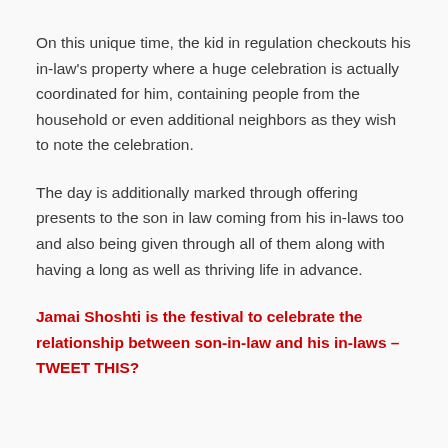On this unique time, the kid in regulation checkouts his in-law's property where a huge celebration is actually coordinated for him, containing people from the household or even additional neighbors as they wish to note the celebration.
The day is additionally marked through offering presents to the son in law coming from his in-laws too and also being given through all of them along with having a long as well as thriving life in advance.
Jamai Shoshti is the festival to celebrate the relationship between son-in-law and his in-laws – TWEET THIS?